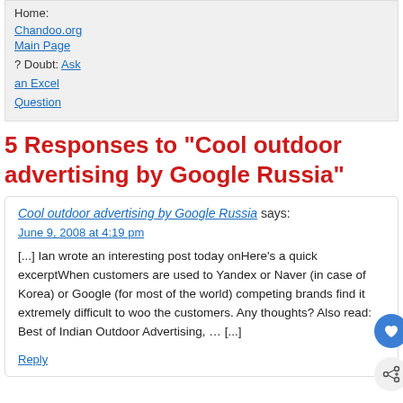Home: Chandoo.org | Main Page | ? Doubt: Ask an Excel Question
5 Responses to “Cool outdoor advertising by Google Russia”
Cool outdoor advertising by Google Russia says:
June 9, 2008 at 4:19 pm
[...] Ian wrote an interesting post today onHere’s a quick excerptWhen customers are used to Yandex or Naver (in case of Korea) or Google (for most of the world) competing brands find it extremely difficult to woo the customers. Any thoughts? Also read: Best of Indian Outdoor Advertising, … [...]

Reply